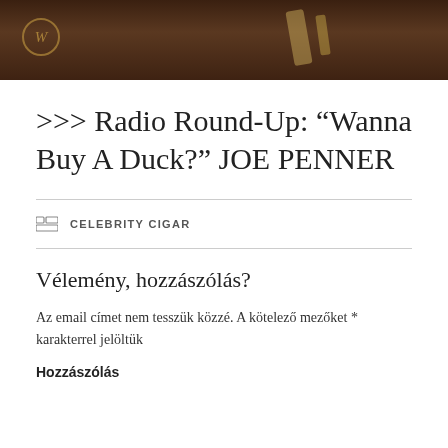[Figure (photo): Dark brown background photo showing what appears to be cigar-related items on a leather surface, with a circular watermark logo containing the letter W in the upper left corner.]
>>> Radio Round-Up: “Wanna Buy A Duck?” JOE PENNER
CELEBRITY CIGAR
Vélemény, hozzászólás?
Az email címet nem tesszük közzé. A kötelező mezőket * karakterrel jelöltük
Hozzászólás